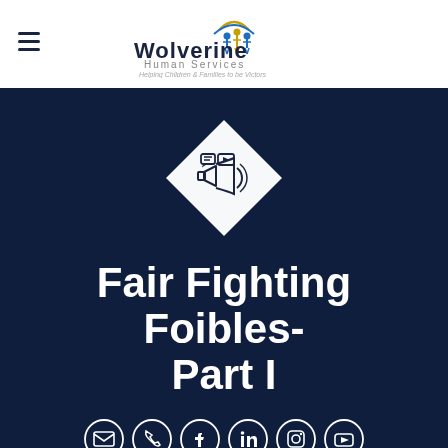[Figure (logo): Wolverine Human Services logo with stylized human figures and tagline 'Helping Children & Families to be Victors']
[Figure (illustration): Diamond-shaped white icon containing a megaphone/announcement symbol with video play button and sound waves on dark navy background]
Fair Fighting Foibles- Part I
[Figure (infographic): Row of six circular social media icons: email, phone, Facebook, LinkedIn, Instagram, YouTube]